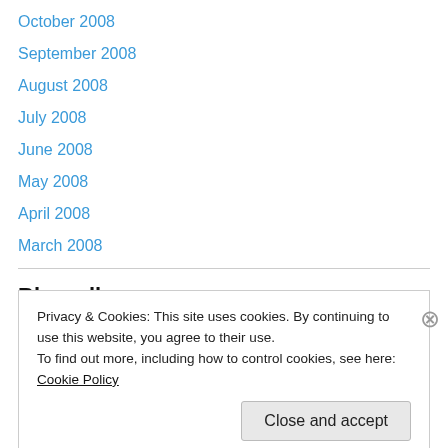October 2008
September 2008
August 2008
July 2008
June 2008
May 2008
April 2008
March 2008
Blogroll
/random
Privacy & Cookies: This site uses cookies. By continuing to use this website, you agree to their use.
To find out more, including how to control cookies, see here: Cookie Policy
Close and accept